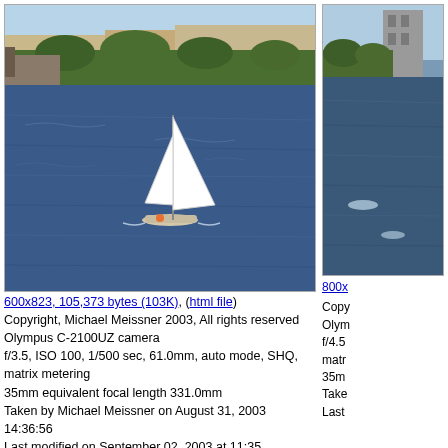[Figure (photo): Sailboat on blue water harbor with buildings and trees in background, taken with Olympus camera]
600x823, 105,373 bytes (103K), (html file)
Copyright, Michael Meissner 2003, All rights reserved
Olympus C-2100UZ camera
f/3.5, ISO 100, 1/500 sec, 61.0mm, auto mode, SHQ, matrix metering
35mm equivalent focal length 331.0mm
Taken by Michael Meissner on August 31, 2003 14:36:56
Last modified on September 02, 2003 at 11:35
[Figure (photo): Partial view of second photo showing water and buildings, cropped at right edge]
800x
Copy
Olym
f/4.5
matr
35m
Take
Last